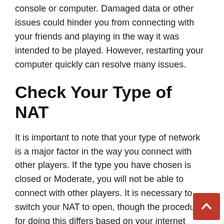console or computer. Damaged data or other issues could hinder you from connecting with your friends and playing in the way it was intended to be played. However, restarting your computer quickly can resolve many issues.
Check Your Type of NAT
It is important to note that your type of network is a major factor in the way you connect with other players. If the type you have chosen is closed or Moderate, you will not be able to connect with other players. It is necessary to switch your NAT to open, though the procedure for doing this differs based on your internet provider.